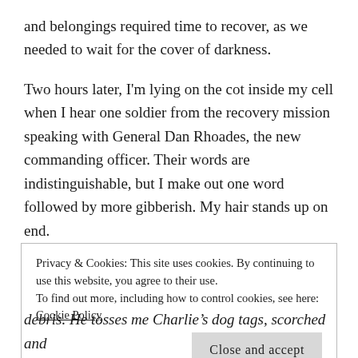and belongings required time to recover, as we needed to wait for the cover of darkness.
Two hours later, I'm lying on the cot inside my cell when I hear one soldier from the recovery mission speaking with General Dan Rhoades, the new commanding officer. Their words are indistinguishable, but I make out one word followed by more gibberish. My hair stands up on end.
“What about Farmer?” I ask. I don’t expect an answer.
Privacy & Cookies: This site uses cookies. By continuing to use this website, you agree to their use.
To find out more, including how to control cookies, see here: Cookie Policy
debris. He tosses me Charlie’s dog tags, scorched and